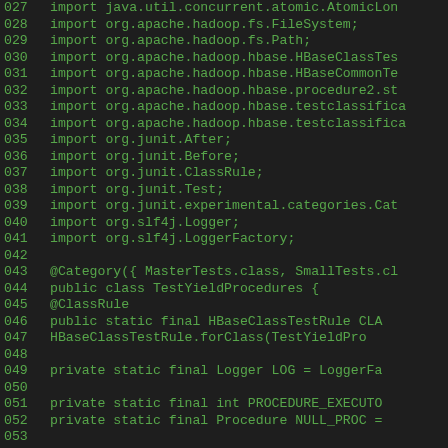[Figure (screenshot): Source code listing in a dark IDE theme showing Java import statements and class definition for TestYieldProcedures, lines 027-055, with green monospace text on dark background.]